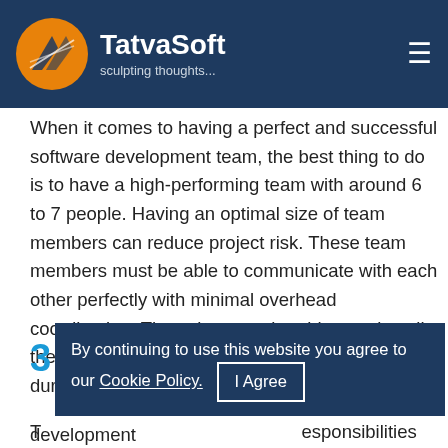TatvaSoft — sculpting thoughts...
When it comes to having a perfect and successful software development team, the best thing to do is to have a high-performing team with around 6 to 7 people. Having an optimal size of team members can reduce project risk. These team members must be able to communicate with each other perfectly with minimal overhead coordination. They also must be able to solve all the types of challenges that come their way during the development process.
By continuing to use this website you agree to our Cookie Policy. | I Agree
responsibilities when it comes to being a good software development